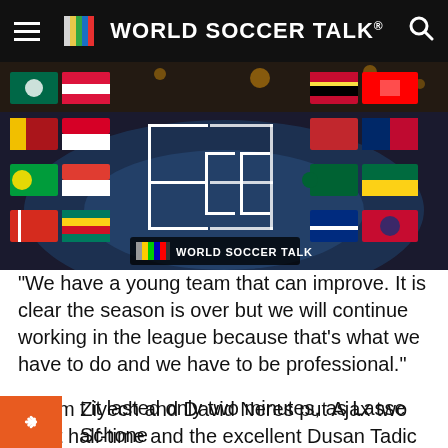WORLD SOCCER TALK
[Figure (screenshot): World Soccer Talk branded image showing a World Cup bracket with various national flags arranged in a tournament bracket format against a stadium background.]
“We have a young team that can improve. It is clear the season is over but we will continue working in the league because that’s what we have to do and we have to be professional.”
Hakim Ziyech and David Neres put Ajax two up at half-time and the excellent Dusan Tadic made it three before Marco Asensio gave Madrid hope.
t it lasted only two minutes, as Lasse Schone